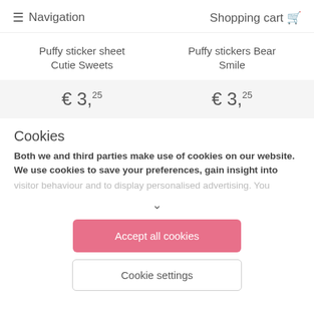Navigation   Shopping cart
Puffy sticker sheet Cutie Sweets
Puffy stickers Bear Smile
€ 3,25
€ 3,25
Cookies
Both we and third parties make use of cookies on our website. We use cookies to save your preferences, gain insight into visitor behaviour and to display personalised advertising. You
Accept all cookies
Cookie settings